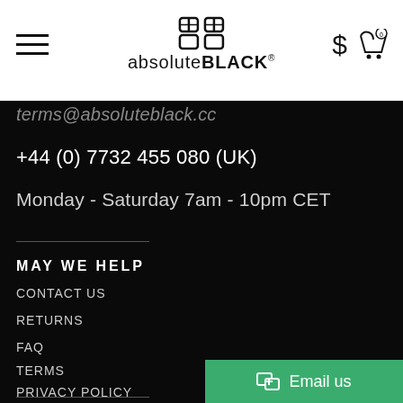absolute BLACK
terms@absoluteblack.cc
+44 (0) 7732 455 080 (UK)
Monday - Saturday 7am - 10pm CET
MAY WE HELP
CONTACT US
RETURNS
FAQ
TERMS
PRIVACY POLICY
Email us